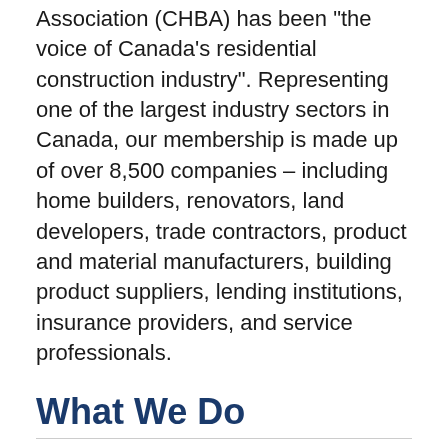Association (CHBA) has been "the voice of Canada's residential construction industry". Representing one of the largest industry sectors in Canada, our membership is made up of over 8,500 companies – including home builders, renovators, land developers, trade contractors, product and material manufacturers, building product suppliers, lending institutions, insurance providers, and service professionals.
What We Do
CHBA seeks a strong and positive role for the housing industry in Canada's economy and in the life and development of our communities. In addressing this goal, we support the business success of our members. We work to ensure